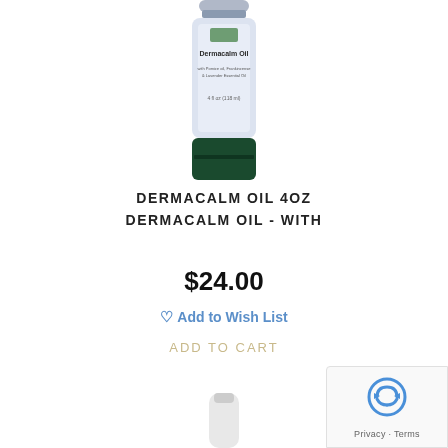[Figure (photo): Product bottle of Dermacalm Oil 4oz by Tinie Laboratories, dark green glass bottle with light purple label]
DERMACALM OIL 4OZ DERMACALM OIL - WITH
$24.00
♡ Add to Wish List
ADD TO CART
[Figure (screenshot): reCAPTCHA badge with Privacy and Terms links]
[Figure (photo): Partial view of a second product at the bottom of the page]